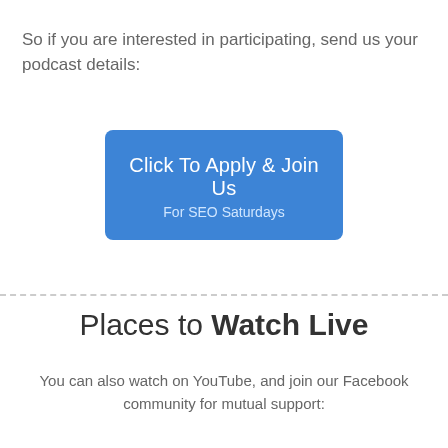So if you are interested in participating, send us your podcast details:
[Figure (other): Blue rounded rectangle button with text 'Click To Apply & Join Us' and subtitle 'For SEO Saturdays']
Places to Watch Live
You can also watch on YouTube, and join our Facebook community for mutual support: